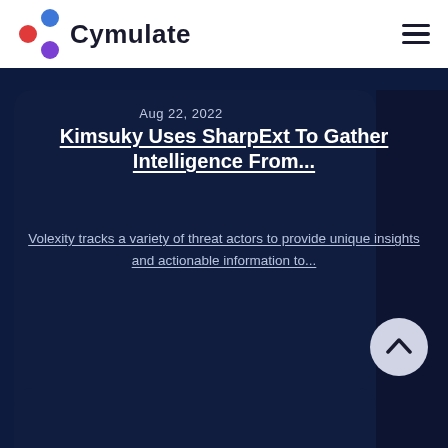Cymulate
Aug 22, 2022
Kimsuky Uses SharpExt To Gather Intelligence From...
Volexity tracks a variety of threat actors to provide unique insights and actionable information to...